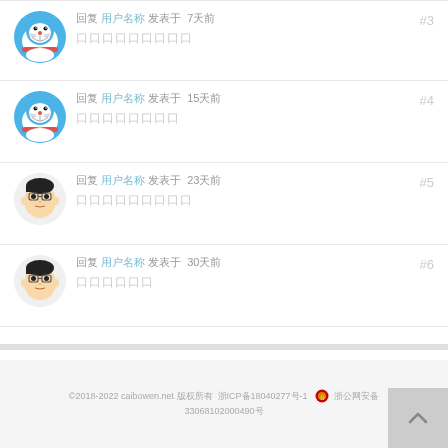回复 用户名称 发表于 7天前 
#3
口口口口口口口口口
回复 用户名称 发表于 15天前 
#4
口口口口口口口口
回复 用户名称 发表于 23天前 
#5
口口口口口口口口口
回复 用户名称 发表于 30天前 
#6
口口口口口口
©2018-2022 caibowen.net 版权所有 浙ICP备18040277号-1 浙公网安备 33068102000490号